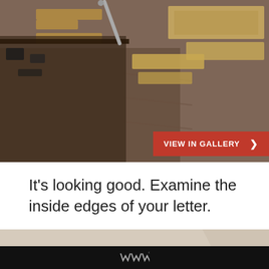[Figure (photo): Top portion: cardboard letter forms on a wooden desk/table surface, shot from above at an angle, showing construction progress of cardboard letters.]
VIEW IN GALLERY >
It's looking good. Examine the inside edges of your letter.
[Figure (photo): Close-up of the inside curved edge of a cardboard letter (appears to be letter O or C), showing the layered cardboard construction on a white surface, with crafting tools visible at the edge.]
WHAT'S NEXT → DIY Marquee Sign with LE...
WW°